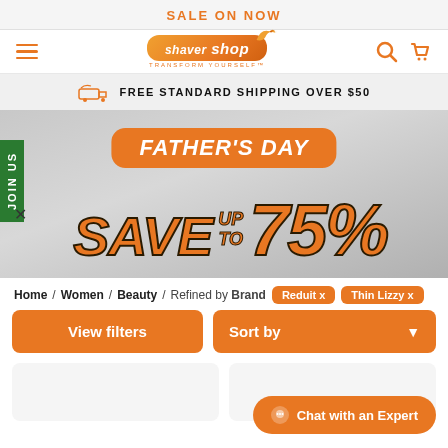SALE ON NOW
[Figure (logo): Shaver Shop logo with orange rounded rectangle background and bird graphic, tagline TRANSFORM YOURSELF]
FREE STANDARD SHIPPING OVER $50
[Figure (infographic): Father's Day hero banner: orange pill badge 'FATHER'S DAY', large text 'SAVE UP TO 75%' in orange on grey background]
JOIN US
Home / Women / Beauty / Refined by Brand  Reduit x  Thin Lizzy x
View filters
Sort by
Chat with an Expert